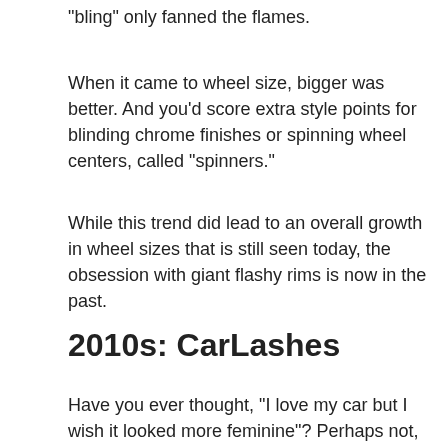“bling” only fanned the flames.
When it came to wheel size, bigger was better. And you’d score extra style points for blinding chrome finishes or spinning wheel centers, called “spinners.”
While this trend did lead to an overall growth in wheel sizes that is still seen today, the obsession with giant flashy rims is now in the past.
2010s: CarLashes
Have you ever thought, “I love my car but I wish it looked more feminine”? Perhaps not, but apparently